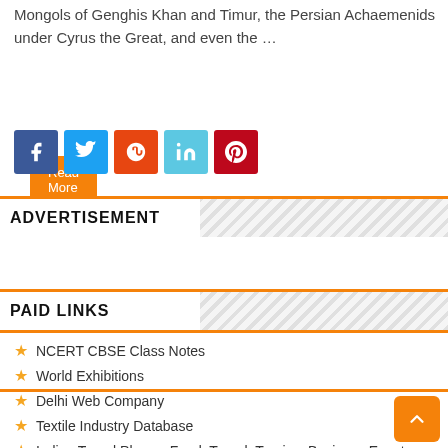Mongols of Genghis Khan and Timur, the Persian Achaemenids under Cyrus the Great, and even the …
Read More »
[Figure (other): Social sharing icons row: Facebook (blue), Twitter (light blue), StumbleUpon (red-orange), LinkedIn (light blue), Pinterest (red)]
ADVERTISEMENT
[Figure (other): Advertisement placeholder area]
PAID LINKS
NCERT CBSE Class Notes
World Exhibitions
Delhi Web Company
Textile Industry Database
Indian Travel Places: Food, Travel, Tourism Business Events